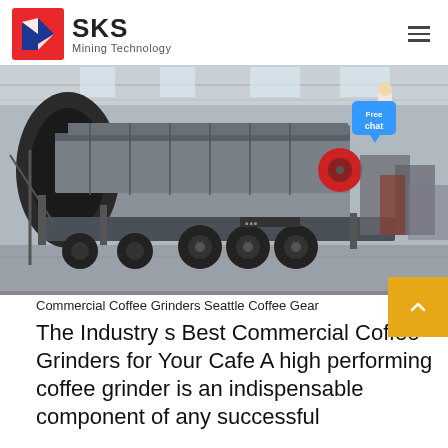SKS Mining Technology
[Figure (photo): Large industrial mobile crusher/screening machine on wheels inside a factory warehouse, with overhead lighting and other machinery in background. A woman figure and 'Free chat' speech bubble overlay visible in the top right corner of the image.]
Commercial Coffee Grinders Seattle Coffee Gear
The Industry s Best Commercial Coffee Grinders for Your Cafe A high performing coffee grinder is an indispensable component of any successful